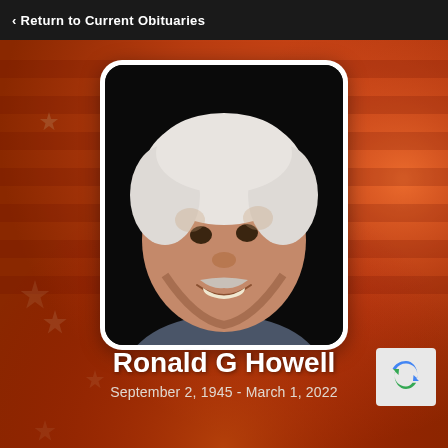‹ Return to Current Obituaries
[Figure (photo): Portrait photo of Ronald G Howell, an elderly man with white hair and a mustache, smiling, set against a dark background. The photo is framed with a white rounded-rectangle border. The page background shows an American flag motif in warm orange-red tones.]
Ronald G Howell
September 2, 1945 - March 1, 2022